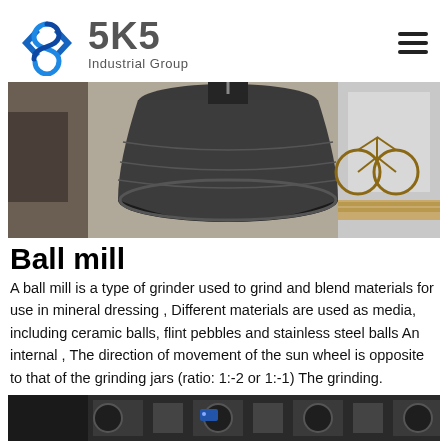[Figure (logo): SKS Industrial Group logo with blue angular S symbol and gray text]
[Figure (photo): Industrial ball mill machine, large dark gray cylindrical grinding equipment in a workshop setting with a bicycle visible in background]
Ball mill
A ball mill is a type of grinder used to grind and blend materials for use in mineral dressing , Different materials are used as media, including ceramic balls, flint pebbles and stainless steel balls An internal , The direction of movement of the sun wheel is opposite to that of the grinding jars (ratio: 1:-2 or 1:-1) The grinding.
[Figure (photo): Close-up of industrial ball mill machinery, dark metal components visible]